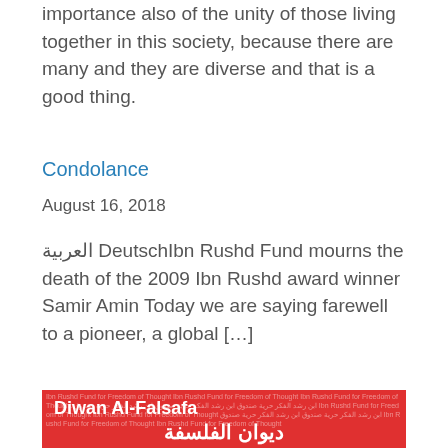importance also of the unity of those living together in this society, because there are many and they are diverse and that is a good thing.
Condolance
August 16, 2018
العربية DeutschIbn Rushd Fund mourns the death of the 2009 Ibn Rushd award winner Samir Amin Today we are saying farewell to a pioneer, a global […]
[Figure (other): Red banner image with repeated text 'Ibn Rushd Fund for Freedom of Thought' in English and Arabic in background, with bold white text 'Diwan Al-Falsafa' in English and 'ديوان الفلسفة' in Arabic overlaid]